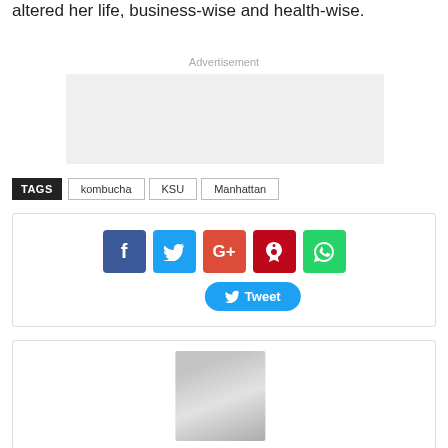altered her life, business-wise and health-wise.
Advertisement
[Figure (other): Advertisement placeholder box (grey rectangle)]
TAGS   kombucha   KSU   Manhattan
[Figure (infographic): Social share buttons: Facebook, Twitter, Google+, Pinterest, WhatsApp, and a Tweet button]
[Figure (photo): Author profile photo placeholder]